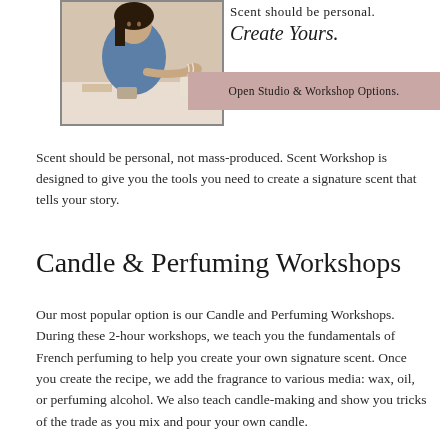[Figure (photo): Woman in blue top smelling or working with candles/perfume at a studio table, framed photo]
Scent should be personal.
Create Yours.
Open Studio & Workshop Options.
Scent should be personal, not mass-produced. Scent Workshop is designed to give you the tools you need to create a signature scent that tells your story.
Candle & Perfuming Workshops
Our most popular option is our Candle and Perfuming Workshops. During these 2-hour workshops, we teach you the fundamentals of French perfuming to help you create your own signature scent. Once you create the recipe, we add the fragrance to various media: wax, oil, or perfuming alcohol. We also teach candle-making and show you tricks of the trade as you mix and pour your own candle.